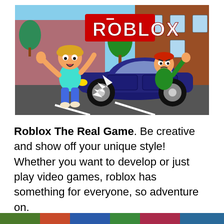[Figure (illustration): Roblox game promotional image showing two cartoon characters, one being hit by a dark blue sports car. The Roblox logo is visible in the background with a building. One character with blond hair is being struck by the car front while another red-haired character drives the car aggressively.]
Roblox The Real Game. Be creative and show off your unique style! Whether you want to develop or just play video games, roblox has something for everyone, so adventure on.
[Figure (photo): Partial bottom strip showing another Roblox-related image, cropped.]